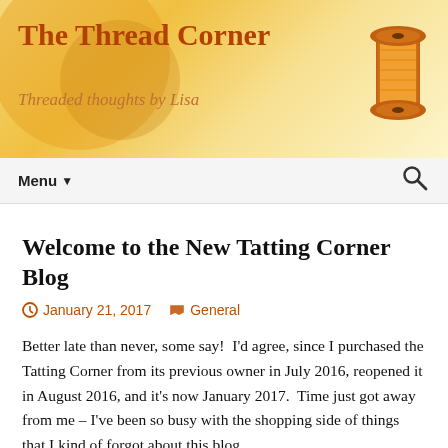The Thread Corner
Threaded thoughts by Lisa
[Figure (illustration): Blog header banner with warm yellow/golden gradient background, decorative circular shapes in orange/golden tones, and an orange thread spool on the right side]
Menu
Welcome to the New Tatting Corner Blog
January 21, 2017   General
Better late than never, some say!  I'd agree, since I purchased the Tatting Corner from its previous owner in July 2016, reopened it in August 2016, and it's now January 2017.  Time just got away from me – I've been so busy with the shopping side of things that I kind of forgot about this blog.